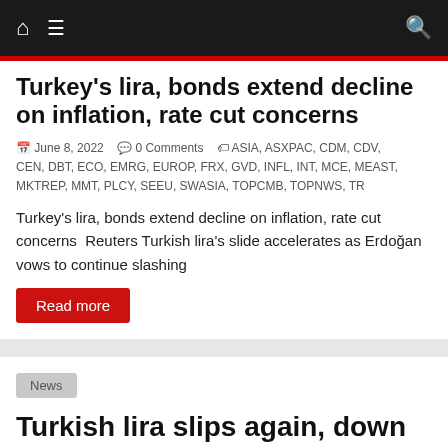Navigation bar with home icon, menu icon, and search icon
Turkey's lira, bonds extend decline on inflation, rate cut concerns
June 8, 2022   0 Comments   ASIA, ASXPAC, CDM, CDV, CEN, DBT, ECO, EMRG, EUROP, FRX, GVD, INFL, INT, MCE, MEAST, MKTREP, MMT, PLCY, SEEU, SWASIA, TOPCMB, TOPNWS, TR
Turkey's lira, bonds extend decline on inflation, rate cut concerns  Reuters Turkish lira's slide accelerates as Erdoğan vows to continue slashing
Read more
News
Turkish lira slips again, down 20% on the year